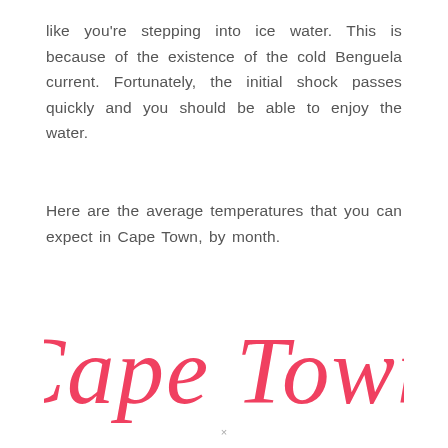like you're stepping into ice water. This is because of the existence of the cold Benguela current. Fortunately, the initial shock passes quickly and you should be able to enjoy the water.
Here are the average temperatures that you can expect in Cape Town, by month.
[Figure (illustration): Large decorative script text reading 'Cape Town' in red/coral cursive handwriting style]